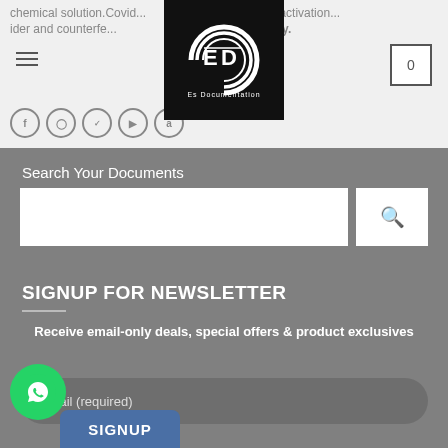chemical solution.Covid...cord card...activation...ider and counterfe...and locally.
[Figure (logo): Es Documentation logo - circular design with 'ED' letters on black background]
Search Your Documents
SIGNUP FOR NEWSLETTER
Receive email-only deals, special offers & product exclusives
Email (required)
SIGNUP